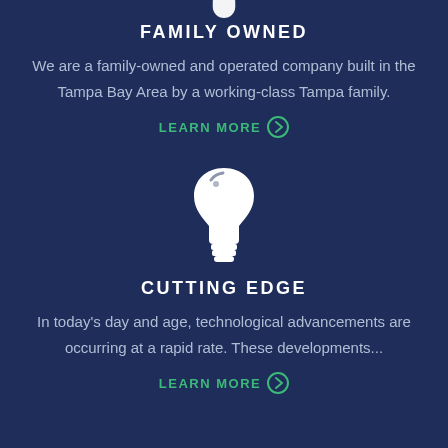[Figure (illustration): White lightbulb icon (partially visible at top, cut off) on dark navy background]
FAMILY OWNED
We are a family-owned and operated company built in the Tampa Bay Area by a working-class Tampa family.
LEARN MORE ❯
[Figure (illustration): White lightbulb icon on dark navy background]
CUTTING EDGE
In today's day and age, technological advancements are occurring at a rapid rate. These developments...
LEARN MORE ❯